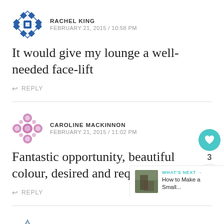RACHEL KING
FEBRUARY 21, 2015 / 10:58 PM
It would give my lounge a well-needed face-lift
REPLY
CAROLINE MACKINNON
FEBRUARY 21, 2015 / 11:02 PM
Fantastic opportunity, beautiful colour, desired and required
REPLY
WHAT'S NEXT → How to Make a Small...
RACHEL B